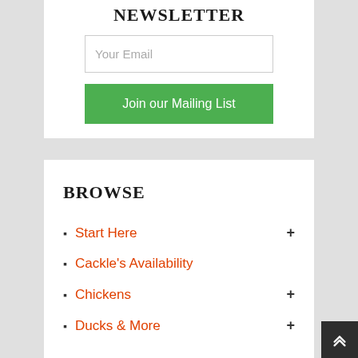NEWSLETTER
Your Email
Join our Mailing List
BROWSE
Start Here +
Cackle's Availability
Chickens +
Ducks & More +